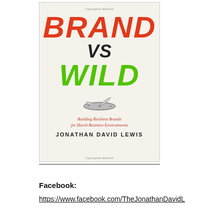[Figure (illustration): Book cover of 'Brand vs Wild' by Jonathan David Lewis. Large italic 'BRAND' in red, 'VS' in black, 'WILD' in green, with a Swiss Army knife illustration, subtitle 'Building Resilient Brands for Harsh Business Environments' in red italic, and author name in black caps.]
Facebook:
https://www.facebook.com/TheJonathanDavidL